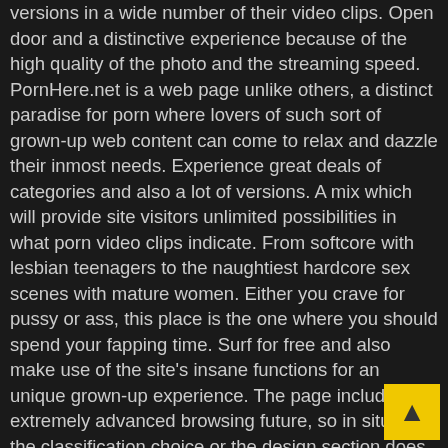versions in a wide number of their video clips. Open door and a distinctive experience because of the high quality of the photo and the streaming speed. PornHere.net is a web page unlike others, a distinct paradise for porn where lovers of such sort of grown-up web content can come to relax and dazzle their inmost needs. Experience great deals of categories and also a lot of versions. A mix which will provide site visitors unlimited possibilities in what porn video clips indicate. From softcore with lesbian teenagers to the naughtiest hardcore sex scenes with mature women. Either you crave for pussy or ass, this place is the one where you should spend your fapping time. Surf for free and also make use of the site's insane functions for an unique grown-up experience. The page includes an extremely advanced browsing future, so in situation the classification choice or the design section does not fit your demands, you can constantly look the web page for what passions you most. Just key in your preferred model's name or your kink as well as the site will serve you like a king. You are seconds far from one of the most popular on-line adult experience with tons of porn videos and also naughty designs available free of cost. Discover the elegance of complimentary porn as well as delight in premium top quality. Unlike various other pages, this right here provides a clean and also very dependable experience. With a fast loading video clip